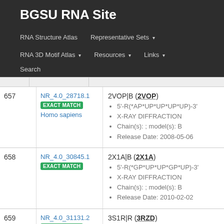BGSU RNA Site
RNA Structure Atlas  Representative Sets ▾  RNA 3D Motif Atlas ▾  Resources ▾  Links ▾  Search
| # | ID | Details |
| --- | --- | --- |
| 657 | NR_4.0_28718.1 EXACT MATCH Homo sapiens | 2VOP|B (2VOP) • 5'-R(*AP*UP*UP*UP*UP)-3' • X-RAY DIFFRACTION • Chain(s): ; model(s): B • Release Date: 2008-05-06 |
| 658 | NR_4.0_30845.1 EXACT MATCH | 2X1A|B (2X1A) • 5'-R(*GP*UP*UP*GP*UP)-3' • X-RAY DIFFRACTION • Chain(s): ; model(s): B • Release Date: 2010-02-02 |
| 659 | NR_4.0_31131.2 EXACT MATCH | 3S1R|R (3RZD) • RNA (5'-R(*AP*GP*AP*GP*G)-3'), RNA (5'... |